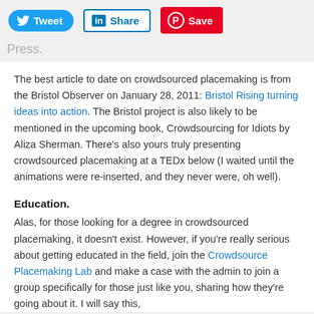Tweet | Share | Save
Press.
The best article to date on crowdsourced placemaking is from the Bristol Observer on January 28, 2011: Bristol Rising turning ideas into action. The Bristol project is also likely to be mentioned in the upcoming book, Crowdsourcing for Idiots by Aliza Sherman. There's also yours truly presenting crowdsourced placemaking at a TEDx below (I waited until the animations were re-inserted, and they never were, oh well).
Education.
Alas, for those looking for a degree in crowdsourced placemaking, it doesn't exist. However, if you're really serious about getting educated in the field, join the Crowdsource Placemaking Lab and make a case with the admin to join a group specifically for those just like you, sharing how they're going about it. I will say this,